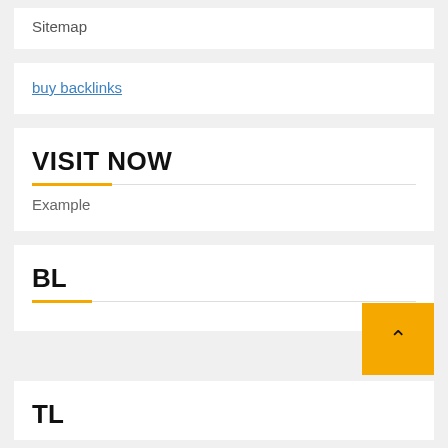Sitemap
buy backlinks
VISIT NOW
Example
BL
TL